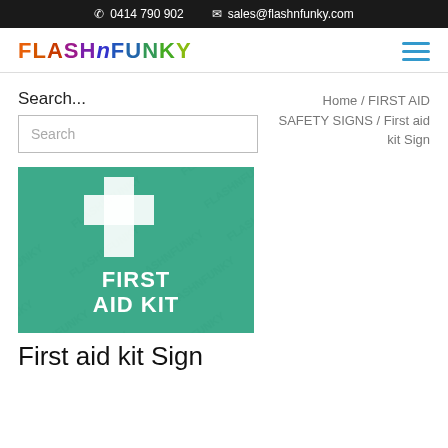0414 790 902   sales@flashnfunky.com
[Figure (logo): FlashNFunky logo in multicolor block letters]
Search...
Search
Home / FIRST AID SAFETY SIGNS / First aid kit Sign
[Figure (photo): Green first aid kit sign with white cross and text FIRST AID KIT]
First aid kit Sign